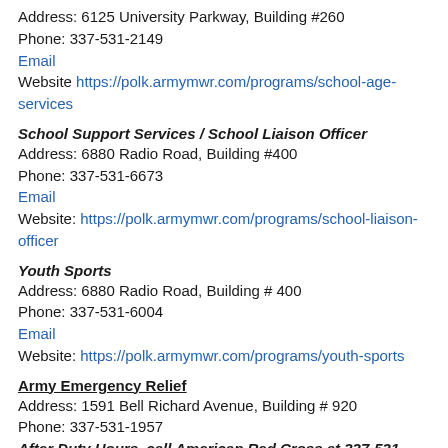Address: 6125 University Parkway, Building #260
Phone: 337-531-2149
Email
Website https://polk.armymwr.com/programs/school-age-services
School Support Services / School Liaison Officer
Address: 6880 Radio Road, Building #400
Phone: 337-531-6673
Email
Website: https://polk.armymwr.com/programs/school-liaison-officer
Youth Sports
Address: 6880 Radio Road, Building # 400
Phone: 337-531-6004
Email
Website: https://polk.armymwr.com/programs/youth-sports
Army Emergency Relief
Address: 1591 Bell Richard Avenue, Building # 920
Phone: 337-531-1957
After Duty Hours, call American Red Cross at 337-531-1927 or 1-877-272-7337